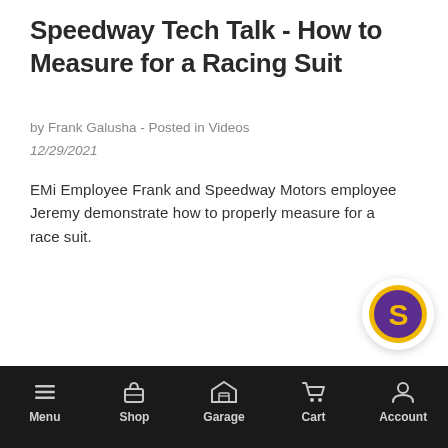Speedway Tech Talk - How to Measure for a Racing Suit
by Frank Galusha - Posted in Videos
12/29/2021
EMi Employee Frank and Speedway Motors employee Jeremy demonstrate how to properly measure for a race suit.
[Figure (logo): Speedway Motors logo — circular badge with gold/yellow ring, purple interior, stylized yellow 'S' letterform]
Menu  Shop  Garage  Cart  Account